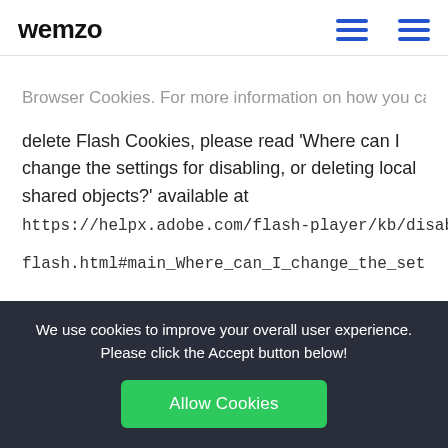wemzo
Browser Cookies. For more information on how you can delete Flash Cookies, please read 'Where can I change the settings for disabling, or deleting local shared objects?' available at https://helpx.adobe.com/flash-player/kb/disable-local-shared-objects-flash.html#main_Where_can_I_change_the_settings_
Web Beacons. Certain sections of our Service and our emails may contain small electronic files known as web
We use cookies to improve your overall user experience. Please click the Accept button below!